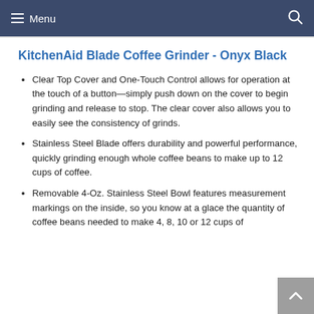Menu
KitchenAid Blade Coffee Grinder - Onyx Black
Clear Top Cover and One-Touch Control allows for operation at the touch of a button—simply push down on the cover to begin grinding and release to stop. The clear cover also allows you to easily see the consistency of grinds.
Stainless Steel Blade offers durability and powerful performance, quickly grinding enough whole coffee beans to make up to 12 cups of coffee.
Removable 4-Oz. Stainless Steel Bowl features measurement markings on the inside, so you know at a glace the quantity of coffee beans needed to make 4, 8, 10 or 12 cups of